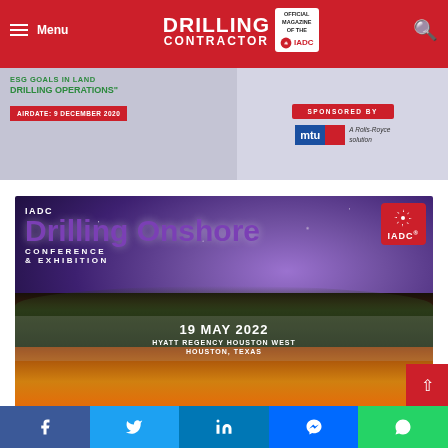Menu | DRILLING CONTRACTOR | Official Magazine of the IADC
[Figure (screenshot): Advertisement banner for a virtual panel on ESG goals in land drilling operations, airdate 9 December 2020, sponsored by MTU A Rolls-Royce solution]
[Figure (photo): IADC Drilling Onshore Conference & Exhibition advertisement. 19 May 2022, Hyatt Regency Houston West, Houston, Texas. Background shows a night sky with Milky Way and a mountain cross silhouette at sunset.]
Social share buttons: Facebook, Twitter, LinkedIn, Messenger, WhatsApp